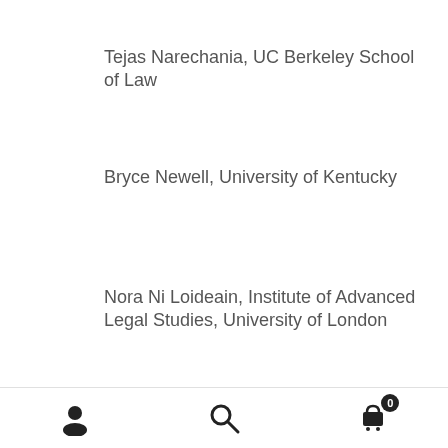Tejas Narechania, UC Berkeley School of Law
Bryce Newell, University of Kentucky
Nora Ni Loideain, Institute of Advanced Legal Studies, University of London
Kobbi Nissim, Georgetown University
Margaret O'Mara, University of Washington
Thomas O'Malley, Former DOJ, Founder of Frozen Ri...
Navigation icons: user, search, cart (0)